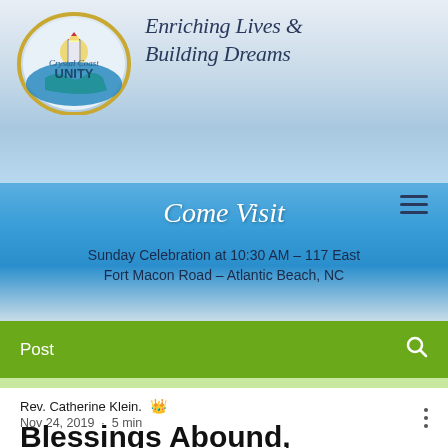[Figure (logo): Crystal Coast Unity logo with lighthouse and wave, circular design with gold and teal colors]
Enriching Lives & Building Dreams
[Figure (photo): Come Visit banner with ocean/water background and navigation menu icon. Text: Come Visit. Sunday Celebration at 10:30 AM – 117 East Fort Macon Road – Atlantic Beach, NC]
Post
Rev. Catherine Klein. 👑
Nov 24, 2019 · 5 min
Blessings Abound,